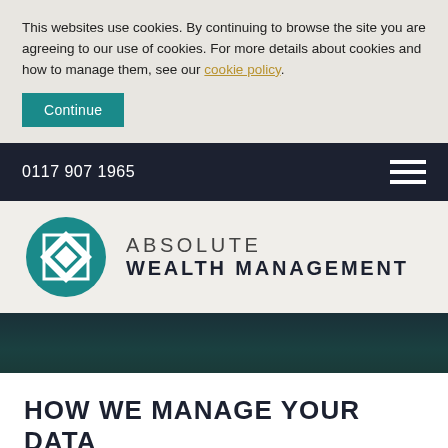This websites use cookies. By continuing to browse the site you are agreeing to our use of cookies. For more details about cookies and how to manage them, see our cookie policy.
Continue
0117 907 1965
[Figure (logo): Absolute Wealth Management logo — teal circle with diamond/square icon, text ABSOLUTE WEALTH MANAGEMENT]
HOW WE MANAGE YOUR DATA
This privacy policy sets out how "Absolute